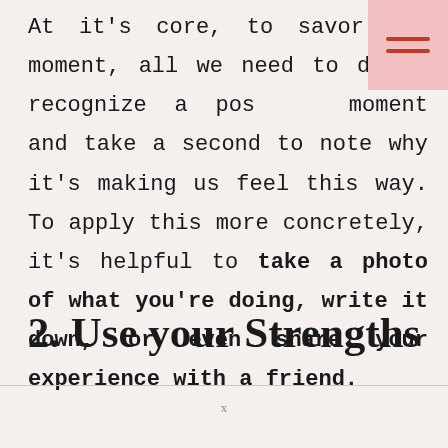At it's core, to savor the moment, all we need to do is recognize a positive moment and take a second to note why it's making us feel this way. To apply this more concretely, it's helpful to take a photo of what you're doing, write it down, or even share your experience with a friend.
2. Use your Strengths
x